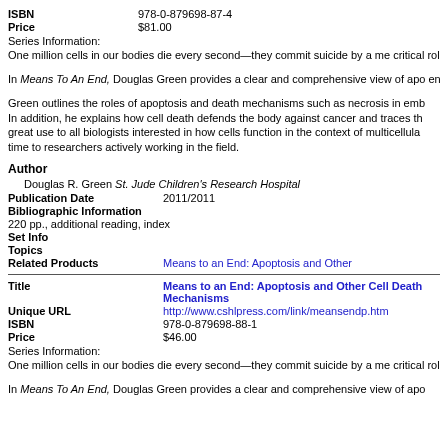| ISBN | 978-0-879698-87-4 |
| Price | $81.00 |
Series Information:
One million cells in our bodies die every second&mdash;they commit suicide by a me critical roles in various developmental processes and the immune system.
In Means To An End, Douglas Green provides a clear and comprehensive view of apo enzymes that perform the execution process (a family of proteases termed caspases) the molecular machinery that links signals that cause cell death to caspases, emphas mitochondria. The final stage of the process, phagocytic removal of dead or dying cel
Green outlines the roles of apoptosis and death mechanisms such as necrosis in emb In addition, he explains how cell death defends the body against cancer and traces th great use to all biologists interested in how cells function in the context of multicellula time to researchers actively working in the field.
Author
Douglas R. Green St. Jude Children's Research Hospital
| Publication Date | 2011/2011 |
| Bibliographic Information |  |
| 220 pp., additional reading, index |  |
| Set Info |  |
| Topics |  |
| Related Products | Means to an End: Apoptosis and Other |
| Title | Means to an End: Apoptosis and Other Cell Death Mechanisms |
| Unique URL | http://www.cshlpress.com/link/meansendp.htm |
| ISBN | 978-0-879698-88-1 |
| Price | $46.00 |
Series Information:
One million cells in our bodies die every second&mdash;they commit suicide by a me critical roles in various developmental processes and the immune system.
In Means To An End, Douglas Green provides a clear and comprehensive view of apo